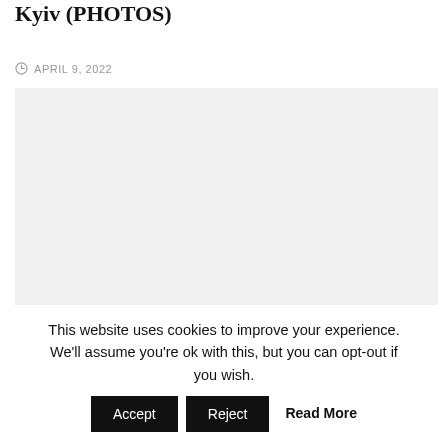Kyiv (PHOTOS)
APRIL 9, 2022
[Figure (photo): Large image placeholder with light gray background, content not visible]
This website uses cookies to improve your experience. We'll assume you're ok with this, but you can opt-out if you wish. Accept Reject Read More